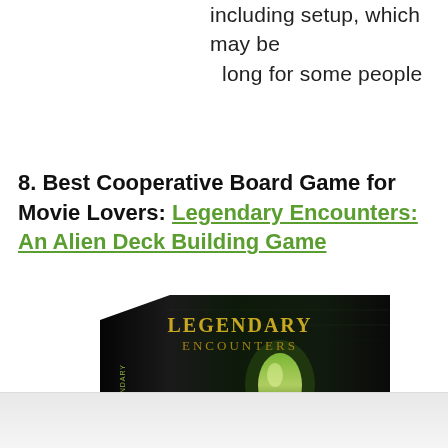including setup, which may be long for some people
8. Best Cooperative Board Game for Movie Lovers: Legendary Encounters: An Alien Deck Building Game
[Figure (photo): Box art for Legendary Encounters: An Alien Deck Building Game board game, showing a dark sci-fi themed box with alien imagery and the title text in gold/green lettering. The box is shown at an angle with a reflection below.]